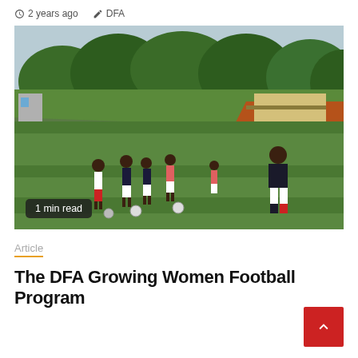2 years ago  DFA
[Figure (photo): Women playing football/soccer on a grass field with trees and a hillside in the background. Players wearing white shorts and dark or red tops. One player in black coaching attire on the right.]
1 min read
Article
The DFA Growing Women Football Program